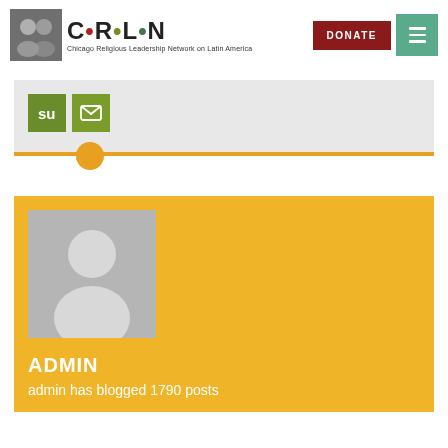[Figure (logo): CRLN logo — Chicago Religious Leadership Network on Latin America, with a black-and-white photo icon on the left]
[Figure (other): DONATE button (dark red) and hamburger menu button (teal) in the header]
[Figure (other): Social share buttons: StumbleUpon (green) and Email (green envelope), on a light gray background with orange slider line]
[Figure (other): Author profile card on yellow/amber background with gray avatar placeholder image]
ADMIN
admin has blogged 1790 posts